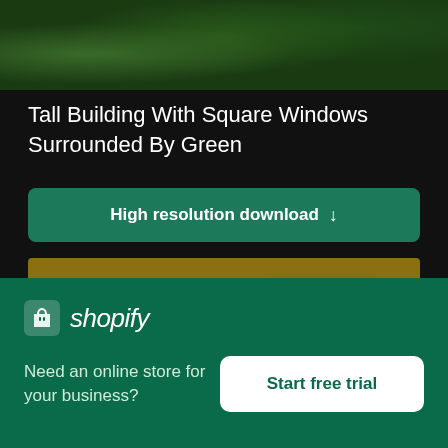[Figure (photo): Top portion of a photo showing tall building with square windows surrounded by green trees/foliage]
Tall Building With Square Windows Surrounded By Green
High resolution download ↓
[Figure (photo): Close-up photo of golden/brown dried plant or grass with green foliage on the right side]
[Figure (logo): Shopify logo — shopping bag icon with 'shopify' text in italic]
Need an online store for your business?
Start free trial